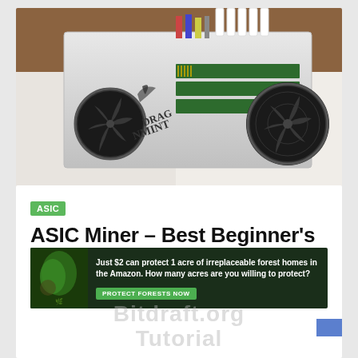[Figure (photo): Close-up photograph of a DragonMint ASIC cryptocurrency mining hardware unit, showing white metal casing with fans, circuit boards, and cable connectors on a white surface with wooden background]
ASIC
ASIC Miner – Best Beginner's Guide To How Does it all Works
[Figure (photo): Advertisement banner: Just $2 can protect 1 acre of irreplaceable forest homes in the Amazon. How many acres are you willing to protect? PROTECT FORESTS NOW]
... tutorial ...